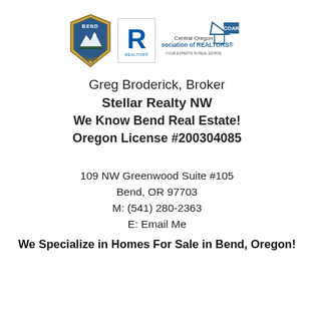[Figure (logo): Three logos: Bend (city/realty badge logo), Realtor R logo, and Central Oregon Association of REALTORS (COAR) logo]
Greg Broderick, Broker
Stellar Realty NW
We Know Bend Real Estate!
Oregon License #200304085
109 NW Greenwood Suite #105
Bend, OR 97703
M: (541) 280-2363
E: Email Me
We Specialize in Homes For Sale in Bend, Oregon!